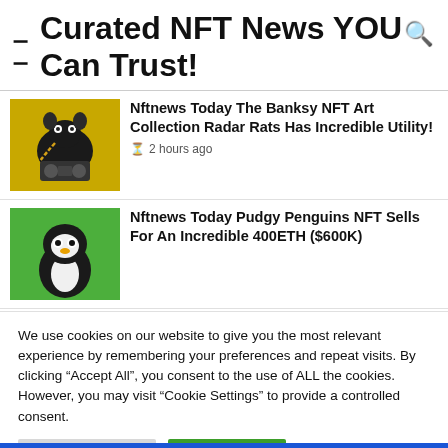Curated NFT News YOU Can Trust!
[Figure (illustration): Thumbnail of Banksy NFT art showing a rat with a boombox on a gold background]
Nftnews Today The Banksy NFT Art Collection Radar Rats Has Incredible Utility!
2 hours ago
[Figure (illustration): Thumbnail of a Pudgy Penguin NFT on a green background]
Nftnews Today Pudgy Penguins NFT Sells For An Incredible 400ETH ($600K)
We use cookies on our website to give you the most relevant experience by remembering your preferences and repeat visits. By clicking "Accept All", you consent to the use of ALL the cookies. However, you may visit "Cookie Settings" to provide a controlled consent.